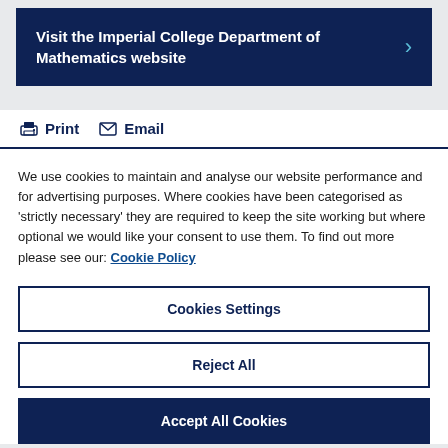Visit the Imperial College Department of Mathematics website
Print  Email
We use cookies to maintain and analyse our website performance and for advertising purposes. Where cookies have been categorised as 'strictly necessary' they are required to keep the site working but where optional we would like your consent to use them. To find out more please see our: Cookie Policy
Cookies Settings
Reject All
Accept All Cookies